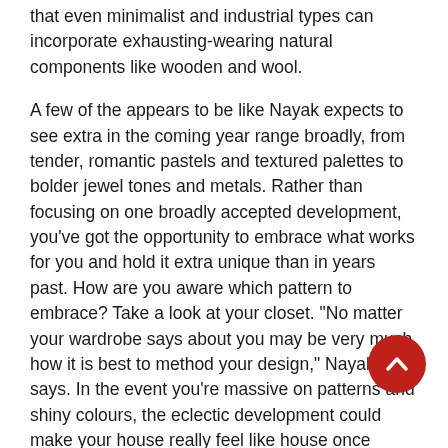that even minimalist and industrial types can incorporate exhausting-wearing natural components like wooden and wool.
A few of the appears to be like Nayak expects to see extra in the coming year range broadly, from tender, romantic pastels and textured palettes to bolder jewel tones and metals. Rather than focusing on one broadly accepted development, you've got the opportunity to embrace what works for you and hold it extra unique than in years past. How are you aware which pattern to embrace? Take a look at your closet. "No matter your wardrobe says about you may be very much how it is best to method your design," Nayak says. In the event you're massive on patterns and shiny colours, the eclectic development could make your house really feel like house once more. If you happen to're a solids-and-neutrals sort of person, working in more of a pure have a look at home can provide the update you want and want.
WORKING PROCESS-The interior planners have to work both at web site and workplace premises. They partition their time time period based on the client's prerequisites. They
[Figure (other): Red circular scroll-to-top button with a white chevron/arrow pointing upward]